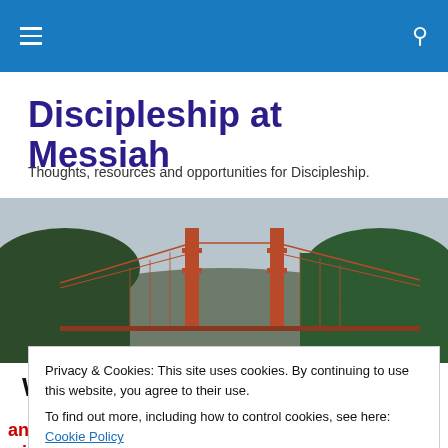Navigation bar with hamburger menu and search icon
Discipleship at Messiah
Thoughts, resources and opportunities for Discipleship.
[Figure (photo): Photo of the Golden Gate Bridge with green trees in the foreground and cloudy sky]
When Life Is Defined By a
Privacy & Cookies: This site uses cookies. By continuing to use this website, you agree to their use. To find out more, including how to control cookies, see here: Cookie Policy
and follow me.  For whoever wants to save his life will